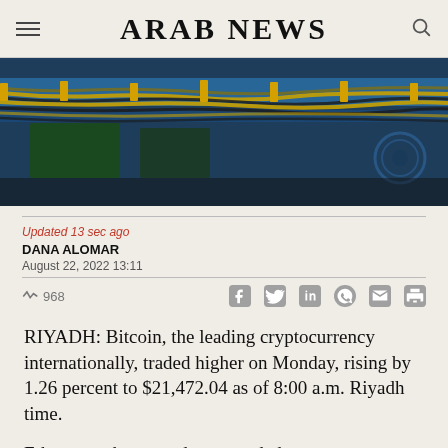ARAB NEWS
[Figure (photo): Close-up photo of cryptocurrency mining hardware showing circuit boards with yellow and black cables connected to blue-colored server racks.]
Updated 13 sec ago
DANA ALOMAR
August 22, 2022 13:11
968
RIYADH: Bitcoin, the leading cryptocurrency internationally, traded higher on Monday, rising by 1.26 percent to $21,472.04 as of 8:00 a.m. Riyadh time.
Ethereum, the second most traded